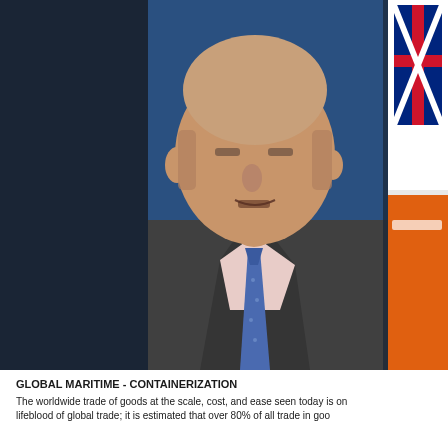[Figure (photo): Photograph of a middle-aged bald man in a dark suit and blue tie with white dots, speaking, against a blue background. To the right is a partial image showing a Union Jack flag and an orange element.]
GLOBAL MARITIME - CONTAINERIZATION
The worldwide trade of goods at the scale, cost, and ease seen today is on... lifeblood of global trade; it is estimated that over 80% of all trade in goo...